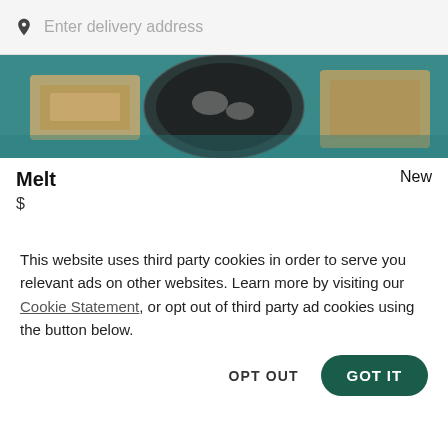Enter delivery address
[Figure (photo): Top-down view of food dishes on a teal/blue surface, showing plates with various foods]
Melt    New
$
[Figure (photo): Close-up of a glazed baked good (donut or pastry) with a red background and chocolate drizzle on the right]
This website uses third party cookies in order to serve you relevant ads on other websites. Learn more by visiting our Cookie Statement, or opt out of third party ad cookies using the button below.
OPT OUT   GOT IT